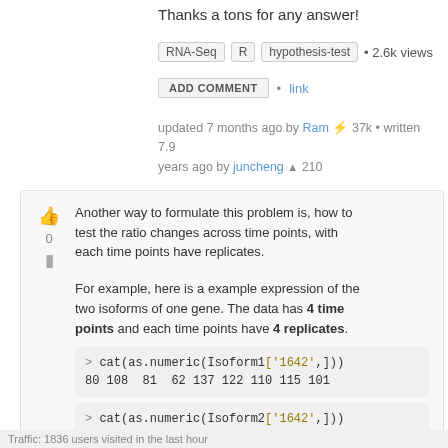Thanks a tons for any answer!
RNA-Seq  R  hypothesis-test • 2.6k views
ADD COMMENT • link
updated 7 months ago by Ram ⚡ 37k • written 7.9 years ago by juncheng ▲ 210
Another way to formulate this problem is, how to test the ratio changes across time points, with each time points have replicates.
For example, here is a example expression of the two isoforms of one gene. The data has 4 time points and each time points have 4 replicates.
> cat(as.numeric(Isoform1['1642',]))
80 108  81  62 137 122 110 115 101
> cat(as.numeric(Isoform2['1642',]))
   26  32  31  28  32  33
Traffic: 1836 users visited in the last hour